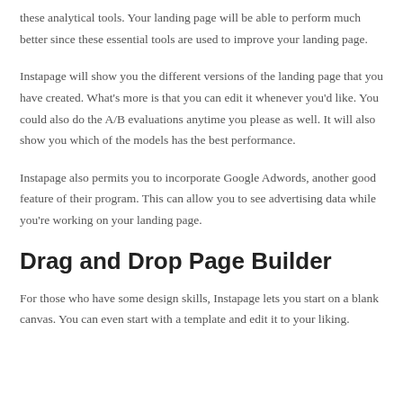these analytical tools. Your landing page will be able to perform much better since these essential tools are used to improve your landing page.
Instapage will show you the different versions of the landing page that you have created. What's more is that you can edit it whenever you'd like. You could also do the A/B evaluations anytime you please as well. It will also show you which of the models has the best performance.
Instapage also permits you to incorporate Google Adwords, another good feature of their program. This can allow you to see advertising data while you're working on your landing page.
Drag and Drop Page Builder
For those who have some design skills, Instapage lets you start on a blank canvas. You can even start with a template and edit it to your liking.